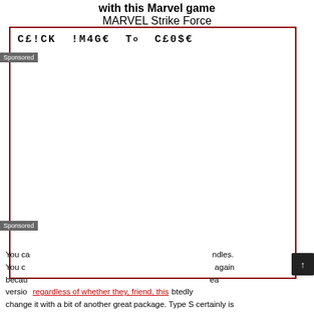with this Marvel game
MARVEL Strike Force
[Figure (other): Advertisement placeholder box with red border containing text 'C£!CK !M4G€ To C£0$€' in monospace font, with Sponsored labels on the left side]
You ca...ndles. You c...again becau...ea...version...btedly change it with a bit of another great package. Type S certainly is